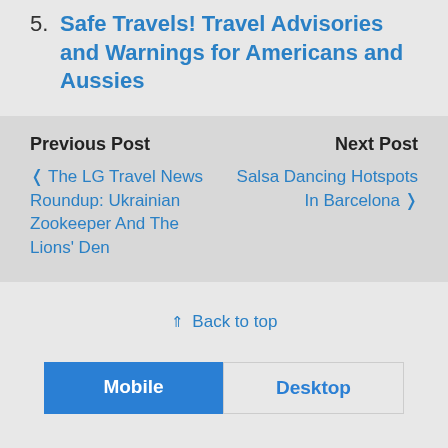5. Safe Travels! Travel Advisories and Warnings for Americans and Aussies
Previous Post
Next Post
< The LG Travel News Roundup: Ukrainian Zookeeper And The Lions' Den
Salsa Dancing Hotspots In Barcelona >
Back to top
Mobile | Desktop